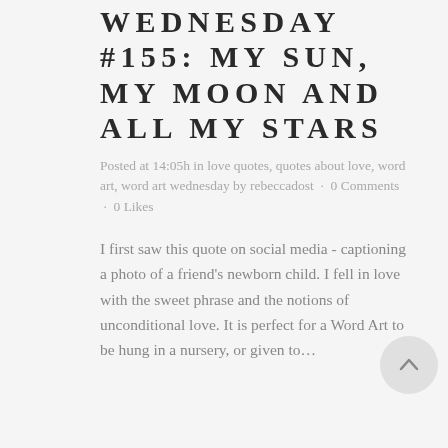WEDNESDAY #155: MY SUN, MY MOON AND ALL MY STARS
Posted at 14:05h in love quotes, quotes about love, word art, word art wednesday by rebeccadost · 0 Comments · 0 Likes
I first saw this quote on social media - captioning a photo of a friend's newborn child. I fell in love with the sweet phrase and the notions of unconditional love. It is perfect for a Word Art to be hung in a nursery, or given to…